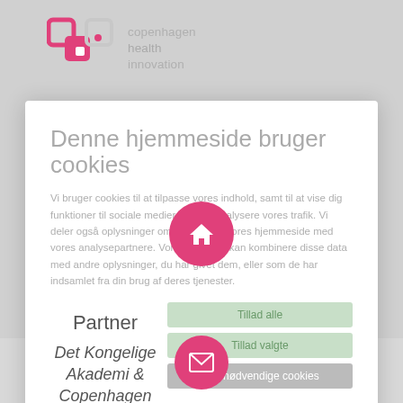[Figure (logo): Copenhagen Health Innovation logo with pink/magenta CHI icon and grey text]
Denne hjemmeside bruger cookies
Vi bruger cookies til at tilpasse vores indhold, samt til at vise dig funktioner til sociale medier og til at analysere vores trafik. Vi deler også oplysninger om din brug af vores hjemmeside med vores analysepartnere. Vores partnere kan kombinere disse data med andre oplysninger, du har givet dem, eller som de har indsamlet fra din brug af deres tjenester.
Partner
Det Kongelige Akademi & Copenhagen Business School
Tillad valgte
Kun nødvendige cookies
✓ Nødvendig
Præferencer
Statistik
Marketing
Vis detaljer
Kontakt